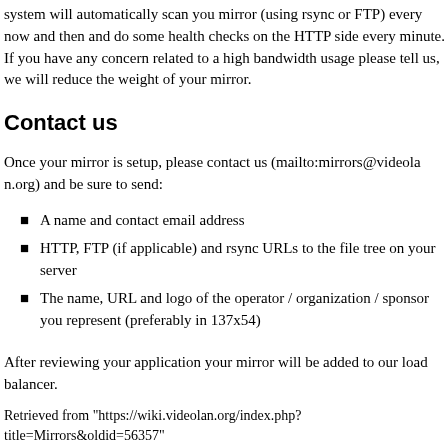system will automatically scan you mirror (using rsync or FTP) every now and then and do some health checks on the HTTP side every minute. If you have any concern related to a high bandwidth usage please tell us, we will reduce the weight of your mirror.
Contact us
Once your mirror is setup, please contact us (mailto:mirrors@videolan.org) and be sure to send:
A name and contact email address
HTTP, FTP (if applicable) and rsync URLs to the file tree on your server
The name, URL and logo of the operator / organization / sponsor you represent (preferably in 137x54)
After reviewing your application your mirror will be added to our load balancer.
Retrieved from "https://wiki.videolan.org/index.php?title=Mirrors&oldid=56357"